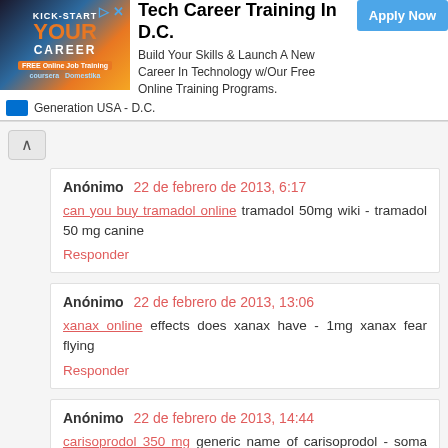[Figure (other): Advertisement banner: Tech Career Training In D.C. with Apply Now button and Generation USA - D.C. branding]
Anónimo 22 de febrero de 2013, 6:17
can you buy tramadol online tramadol 50mg wiki - tramadol 50 mg canine
Responder
Anónimo 22 de febrero de 2013, 13:06
xanax online effects does xanax have - 1mg xanax fear flying
Responder
Anónimo 22 de febrero de 2013, 14:44
carisoprodol 350 mg generic name of carisoprodol - soma 350 mg tablet
Responder